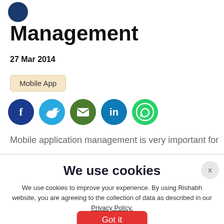[Figure (logo): Circular logo in top left corner]
Management
27 Mar 2014
Mobile App
[Figure (infographic): Social media sharing icons: Facebook (dark blue), Twitter (light blue), Email (green), LinkedIn (teal), WhatsApp (bright green)]
Mobile application management is very important for
We use cookies
We use cookies to improve your experience. By using Rishabh website, you are agreeing to the collection of data as described in our Privacy Policy.
Got it